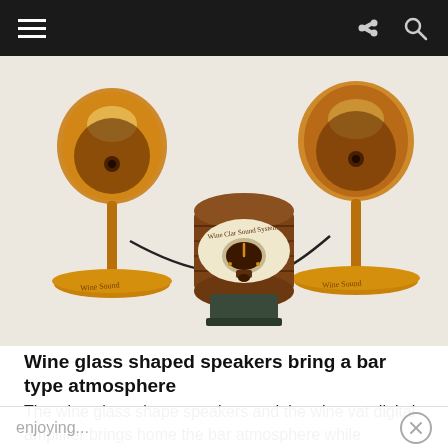Navigation bar with hamburger menu, share icon, and search icon
[Figure (photo): Two wine glass shaped speakers with gold stems and bases connected by wires to a central barrel-shaped digital amplifier on a black stand. The product is called 'Wine Clar Sound System'.]
Wine glass shaped speakers bring a bar type atmosphere
The wine glass shape speakers and the wine vat digital amplifier brings home the bar atmosphere while
enjoying...